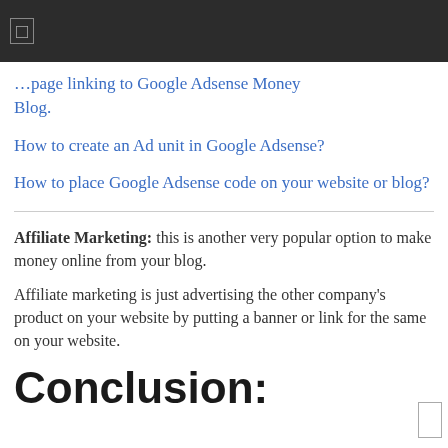…page linking to Google Adsense Money Blog.
How to create an Ad unit in Google Adsense?
How to place Google Adsense code on your website or blog?
Affiliate Marketing: this is another very popular option to make money online from your blog.
Affiliate marketing is just advertising the other company's product on your website by putting a banner or link for the same on your website.
Conclusion: